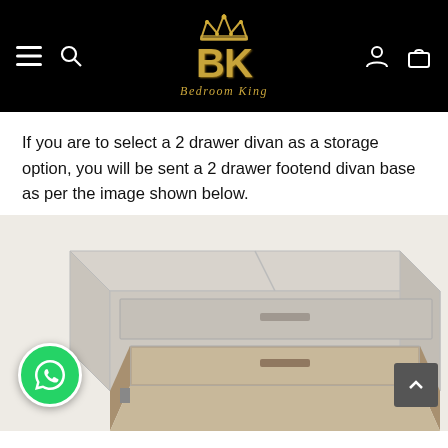Bedroom King - navigation header with logo
If you are to select a 2 drawer divan as a storage option, you will be sent a 2 drawer footend divan base as per the image shown below.
[Figure (photo): A 2 drawer footend divan bed base in light grey/mink fabric upholstery, shown with one drawer open at the foot end, viewed from above at an angle. WhatsApp contact button visible at bottom-left, scroll-to-top button at bottom-right.]